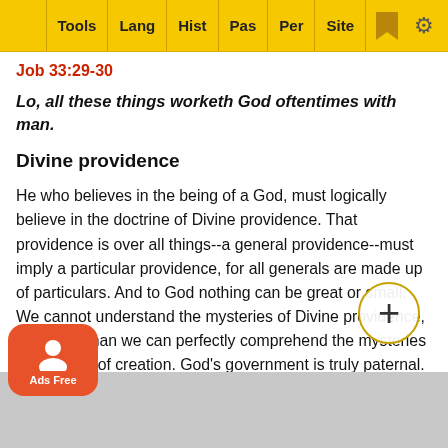Tools | Lang | Hist | Pas | Per | Site
Job 33:29-30
Lo, all these things worketh God oftentimes with man.
Divine providence
He who believes in the being of a God, must logically believe in the doctrine of Divine providence. That providence is over all things--a general providence--must imply a particular providence, for all generals are made up of particulars. And to God nothing can be great or small. We cannot understand the mysteries of Divine providence, any more than we can perfectly comprehend the mysteries of the work of creation. God's government is truly paternal. He cares for His children, and more especially for their higher interests. Nothing can happen to us by chance, for everything is ordered and regulated by His wisdom and power and goodness. By various means the discipline of Divine providence exercises purposes